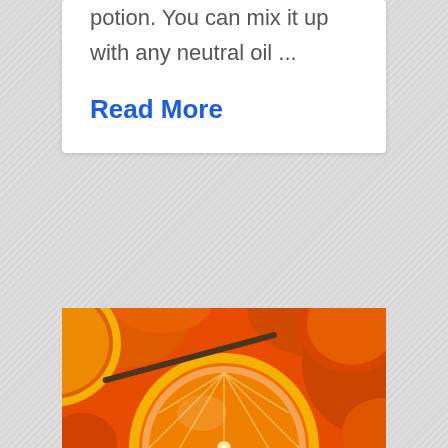potion. You can mix it up with any neutral oil ...
Read More
[Figure (photo): Close-up photograph of sliced oranges showing the interior segments and peel, with vivid orange color.]